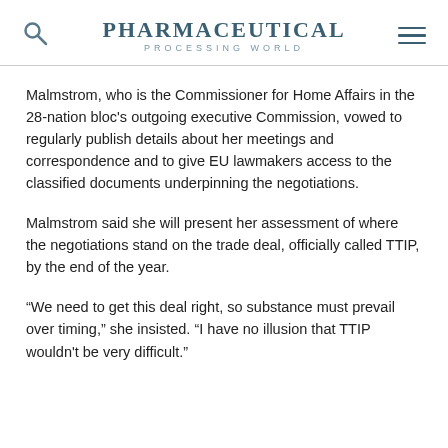Pharmaceutical Processing World
Malmstrom, who is the Commissioner for Home Affairs in the 28-nation bloc's outgoing executive Commission, vowed to regularly publish details about her meetings and correspondence and to give EU lawmakers access to the classified documents underpinning the negotiations.
Malmstrom said she will present her assessment of where the negotiations stand on the trade deal, officially called TTIP, by the end of the year.
“We need to get this deal right, so substance must prevail over timing,” she insisted. “I have no illusion that TTIP wouldn't be very difficult.”